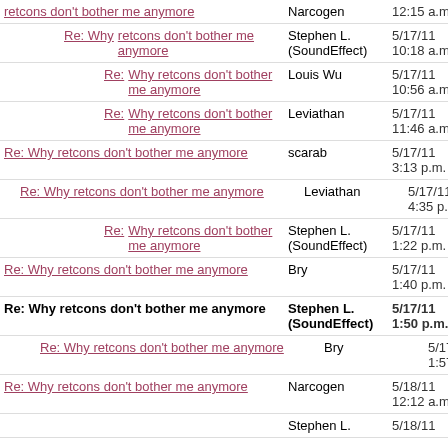retcons don't bother me anymore | Narcogen | 12:15 a.m.
Re: Why retcons don't bother me anymore | Stephen L. (SoundEffect) | 5/17/11 10:18 a.m.
Re: Why retcons don't bother me anymore | Louis Wu | 5/17/11 10:56 a.m.
Re: Why retcons don't bother me anymore | Leviathan | 5/17/11 11:46 a.m.
Re: Why retcons don't bother me anymore | scarab | 5/17/11 3:13 p.m.
Re: Why retcons don't bother me anymore | Leviathan | 5/17/11 4:35 p.m.
Re: Why retcons don't bother me anymore | Stephen L. (SoundEffect) | 5/17/11 1:22 p.m.
Re: Why retcons don't bother me anymore | Bry | 5/17/11 1:40 p.m.
Re: Why retcons don't bother me anymore | Stephen L. (SoundEffect) | 5/17/11 1:50 p.m.
Re: Why retcons don't bother me anymore | Bry | 5/17/11 1:57 p.m.
Re: Why retcons don't bother me anymore | Narcogen | 5/18/11 12:12 a.m.
Stephen L. | 5/18/11